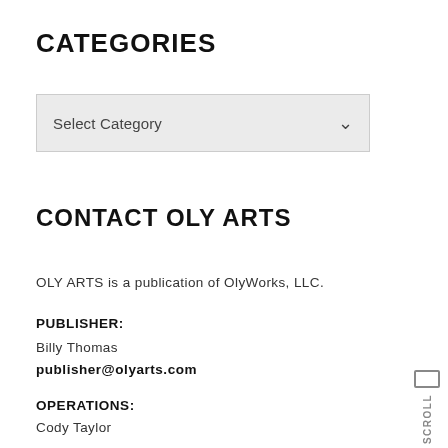CATEGORIES
[Figure (screenshot): A dropdown/select box labelled 'Select Category' with a chevron on the right]
CONTACT OLY ARTS
OLY ARTS is a publication of OlyWorks, LLC.
PUBLISHER:
Billy Thomas
publisher@olyarts.com
OPERATIONS:
Cody Taylor
business@olyarts.com